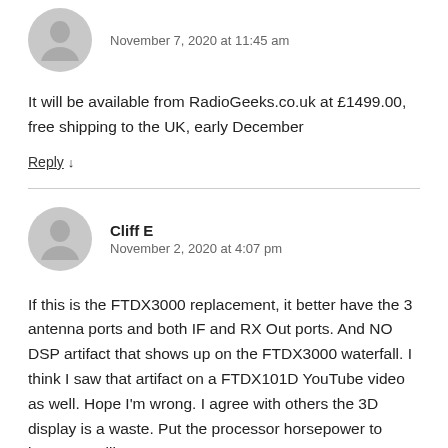November 7, 2020 at 11:45 am
It will be available from RadioGeeks.co.uk at £1499.00, free shipping to the UK, early December
Reply ↓
Cliff E
November 2, 2020 at 4:07 pm
If this is the FTDX3000 replacement, it better have the 3 antenna ports and both IF and RX Out ports. And NO DSP artifact that shows up on the FTDX3000 waterfall. I think I saw that artifact on a FTDX101D YouTube video as well. Hope I'm wrong. I agree with others the 3D display is a waste. Put the processor horsepower to better use, like remote